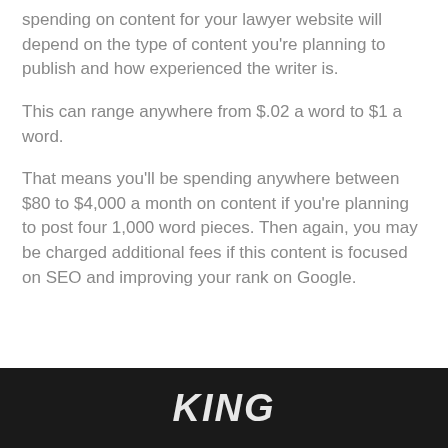spending on content for your lawyer website will depend on the type of content you're planning to publish and how experienced the writer is.
This can range anywhere from $.02 a word to $1 a word.
That means you'll be spending anywhere between $80 to $4,000 a month on content if you're planning to post four 1,000 word pieces. Then again, you may be charged additional fees if this content is focused on SEO and improving your rank on Google.
[Figure (photo): Dark background image with partial white bold italic text visible at the bottom of the page, appears to be a logo or heading.]